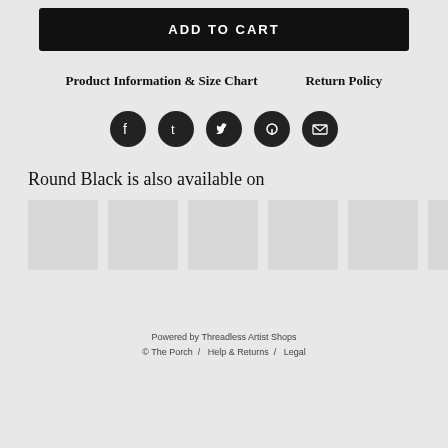ADD TO CART
Product Information & Size Chart   Return Policy
[Figure (other): Social share icons: Facebook, Tumblr, Twitter, Pinterest, Email — dark circular buttons]
Round Black is also available on
[Figure (other): Six light gray product thumbnail image placeholders in a horizontal row]
Powered by Threadless Artist Shops
© The Porch  /  Help & Returns  /  Legal